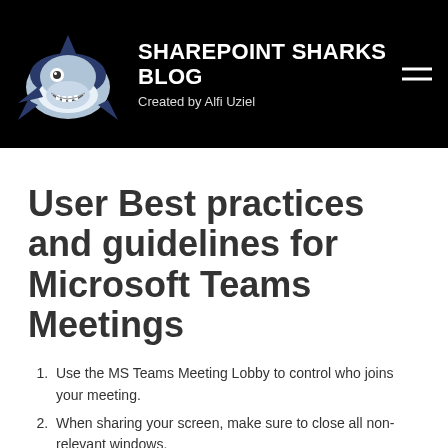[Figure (logo): SharePoint Sharks Blog logo with cartoon shark on black background header]
SHAREPOINT SHARKS BLOG
Created by Alfi Uziel
User Best practices and guidelines for Microsoft Teams Meetings
Use the MS Teams Meeting Lobby to control who joins your meeting.
When sharing your screen, make sure to close all non-relevant windows.
Record only training sessions or content you want to share with